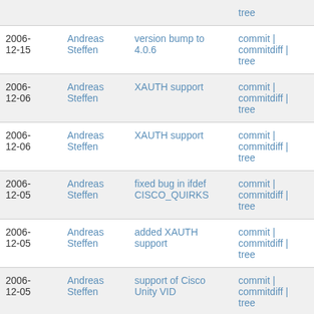| Date | Author | Message | Links |
| --- | --- | --- | --- |
|  |  |  | tree |
| 2006-12-15 | Andreas Steffen | version bump to 4.0.6 | commit | commitdiff | tree |
| 2006-12-06 | Andreas Steffen | XAUTH support | commit | commitdiff | tree |
| 2006-12-06 | Andreas Steffen | XAUTH support | commit | commitdiff | tree |
| 2006-12-05 | Andreas Steffen | fixed bug in ifdef CISCO_QUIRKS | commit | commitdiff | tree |
| 2006-12-05 | Andreas Steffen | added XAUTH support | commit | commitdiff | tree |
| 2006-12-05 | Andreas Steffen | support of Cisco Unity VID | commit | commitdiff | tree |
| 2006-12-05 | Andreas Steffen | added new VIDs | commit | commitdiff |